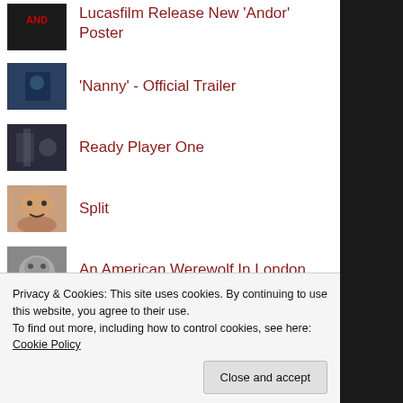Lucasfilm Release New 'Andor' Poster
'Nanny' - Official Trailer
Ready Player One
Split
An American Werewolf In London
Privacy & Cookies: This site uses cookies. By continuing to use this website, you agree to their use.
To find out more, including how to control cookies, see here: Cookie Policy